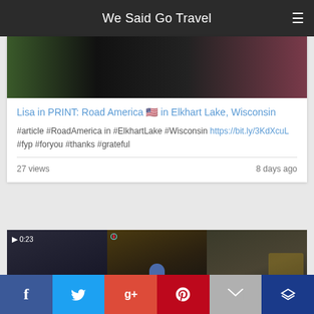We Said Go Travel
[Figure (screenshot): Partial image screenshot at top of card 1 showing dark and colorful background]
Lisa in PRINT: Road America 🇺🇸 in Elkhart Lake, Wisconsin
#article #RoadAmerica in #ElkhartLake #Wisconsin https://bit.ly/3KdXcuL #fyp #foryou #thanks #grateful
27 views    8 days ago
[Figure (screenshot): TikTok video thumbnail showing 0:23 duration, split into three panels with dark interiors and a person standing in a decorated venue]
[Figure (infographic): Social share bar with Facebook, Twitter, Google+, Pinterest, Email, and crown icons]